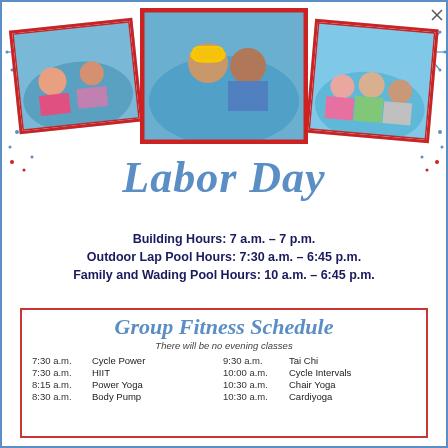[Figure (photo): Three pool photos with patriotic fireworks background: left photo shows two young girls in pool, center photo shows boy with goggles and woman making peace sign, right photo shows three girls in pool]
Labor Day
Building Hours: 7 a.m. – 7 p.m.
Outdoor Lap Pool Hours: 7:30 a.m. – 6:45 p.m.
Family and Wading Pool Hours: 10 a.m. – 6:45 p.m.
Group Fitness Schedule
There will be no evening classes
| Time | Class | Time | Class |
| --- | --- | --- | --- |
| 7:30 a.m. | Cycle Power | 9:30 a.m. | Tai Chi |
| 7:30 a.m. | HIIT | 10:00 a.m. | Cycle Intervals |
| 8:15 a.m. | Power Yoga | 10:30 a.m. | Chair Yoga |
| 8:30 a.m. | Body Pump | 10:30 a.m. | Cardiyoga |